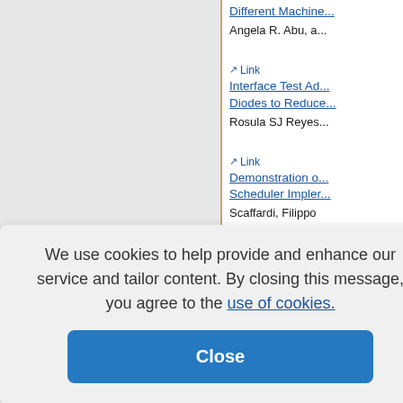Different Machine...
Angela R. Abu, a...
Link — Interface Test Ad... Diodes to Reduce...
Rosula SJ Reyes...
Link — Demonstration o... Scheduler Impler...
Scaffardi, Filippo
Toccafondo, Rosu...
onics pH L... Raspberry...
l Matthew...
ve Cruise C... aolo Mayu...
We use cookies to help provide and enhance our service and tailor content. By closing this message, you agree to the use of cookies.
Close